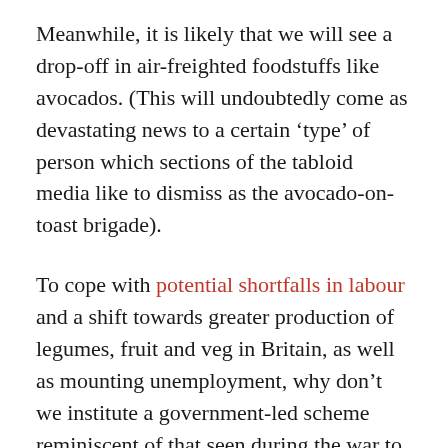Meanwhile, it is likely that we will see a drop-off in air-freighted foodstuffs like avocados. (This will undoubtedly come as devastating news to a certain ‘type’ of person which sections of the tabloid media like to dismiss as the avocado-on-toast brigade).
To cope with potential shortfalls in labour and a shift towards greater production of legumes, fruit and veg in Britain, as well as mounting unemployment, why don’t we institute a government-led scheme reminiscent of that seen during the war to get people working the land? More of our available hectares need to be turned over to fruit, veg, and legumes.